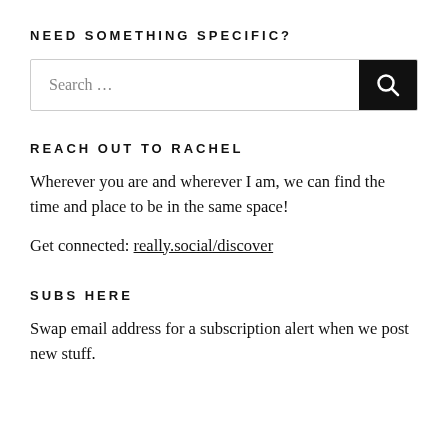NEED SOMETHING SPECIFIC?
[Figure (other): Search box with text input field labeled 'Search ...' and a black search button with magnifying glass icon]
REACH OUT TO RACHEL
Wherever you are and wherever I am, we can find the time and place to be in the same space!
Get connected: really.social/discover
SUBS HERE
Swap email address for a subscription alert when we post new stuff.